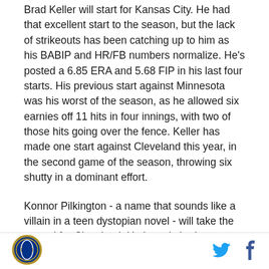Brad Keller will start for Kansas City. He had that excellent start to the season, but the lack of strikeouts has been catching up to him as his BABIP and HR/FB numbers normalize. He's posted a 6.85 ERA and 5.68 FIP in his last four starts. His previous start against Minnesota was his worst of the season, as he allowed six earnies off 11 hits in four innings, with two of those hits going over the fence. Keller has made one start against Cleveland this year, in the second game of the season, throwing six shutty in a dominant effort.
Konnor Pilkington - a name that sounds like a villain in a teen dystopian novel - will take the mound for Cleveland. He has pitched sporadically in the majors this year with three relief appearances in April and two
[Figure (logo): Royals circular logo - dark blue circle with gold/white baseball design]
[Figure (logo): Twitter bird icon in blue]
[Figure (logo): Facebook f icon in dark blue]